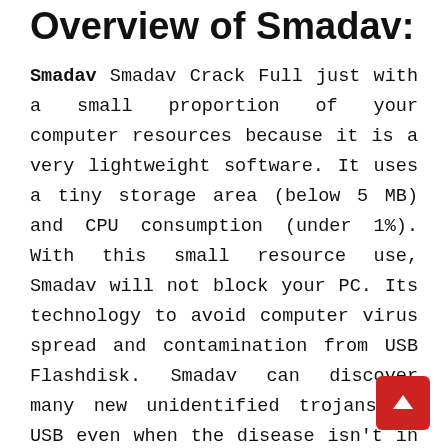Overview of Smadav:
Smadav Smadav Crack Full just with a small proportion of your computer resources because it is a very lightweight software. It uses a tiny storage area (below 5 MB) and CPU consumption (under 1%). With this small resource use, Smadav will not block your PC. Its technology to avoid computer virus spread and contamination from USB Flashdisk. Smadav can discover many new unidentified trojans in USB even when the disease isn't in the information source. Not merely to insure, Smadav also can wash USB Flashdisk from disease and restore covered/infected records from the USB Flashdisk. SmadAV differs from several other trojan checkers as it won't